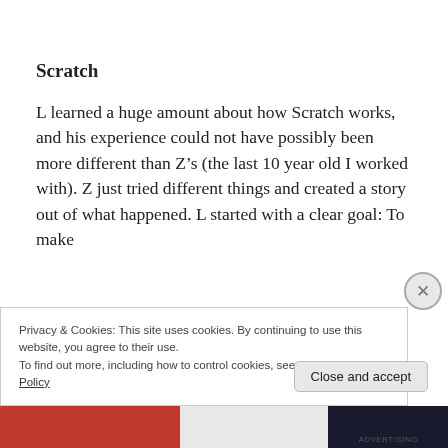Scratch
L learned a huge amount about how Scratch works, and his experience could not have possibly been more different than Z’s (the last 10 year old I worked with). Z just tried different things and created a story out of what happened. L started with a clear goal: To make
Privacy & Cookies: This site uses cookies. By continuing to use this website, you agree to their use.
To find out more, including how to control cookies, see here: Cookie Policy
Close and accept